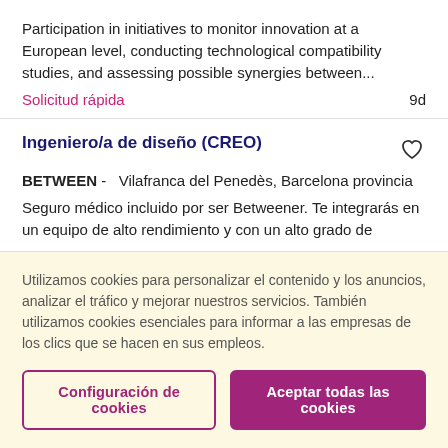Participation in initiatives to monitor innovation at a European level, conducting technological compatibility studies, and assessing possible synergies between...
Solicitud rápida   9d
Ingeniero/a de diseño (CREO)
BETWEEN -  Vilafranca del Penedès, Barcelona provincia
Seguro médico incluido por ser Betweener. Te integrarás en un equipo de alto rendimiento y con un alto grado de
Utilizamos cookies para personalizar el contenido y los anuncios, analizar el tráfico y mejorar nuestros servicios. También utilizamos cookies esenciales para informar a las empresas de los clics que se hacen en sus empleos.
Configuración de cookies
Aceptar todas las cookies